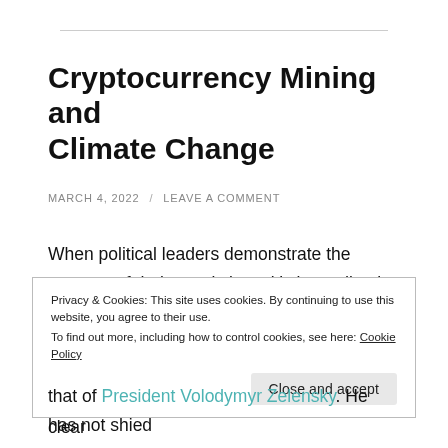Cryptocurrency Mining and Climate Change
MARCH 4, 2022 / LEAVE A COMMENT
When political leaders demonstrate the courage of their convictions, it's immediately evident. Perhaps it's because the authenticity shines through the usual political fog so brightly. All pretense drops, the language becomes direct and straightforward, and the clear
Privacy & Cookies: This site uses cookies. By continuing to use this website, you agree to their use.
To find out more, including how to control cookies, see here: Cookie Policy
Close and accept
that of President Volodymyr Zelensky. He has not shied